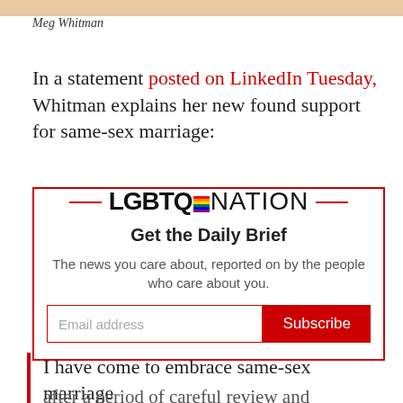Meg Whitman
In a statement posted on LinkedIn Tuesday, Whitman explains her new found support for same-sex marriage:
[Figure (infographic): LGBTQ Nation newsletter signup box with logo, 'Get the Daily Brief' heading, description text, and email subscription form with red Subscribe button]
I have come to embrace same-sex marriage after a period of careful review and reflection